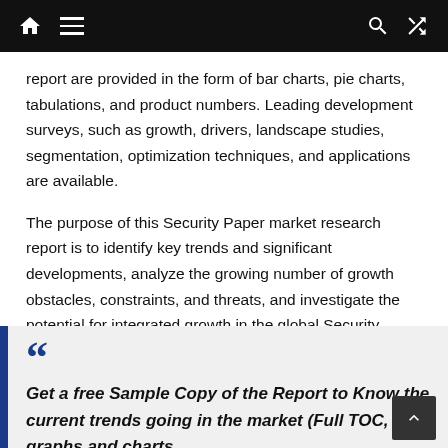Navigation bar with home, menu, search, and shuffle icons
report are provided in the form of bar charts, pie charts, tabulations, and product numbers. Leading development surveys, such as growth, drivers, landscape studies, segmentation, optimization techniques, and applications are available.
The purpose of this Security Paper market research report is to identify key trends and significant developments, analyze the growing number of growth obstacles, constraints, and threats, and investigate the potential for integrated growth in the global Security Paper market.
Get a free Sample Copy of the Report to Know the current trends going in the market (Full TOC, graphs and charts